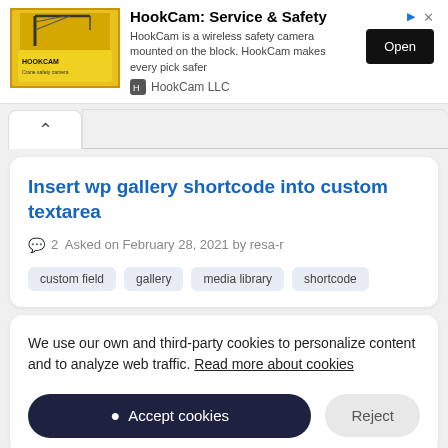[Figure (screenshot): Advertisement banner for HookCam: Service & Safety showing a yellow construction crane image, HookCam LLC logo, description text, and Open button]
Insert wp gallery shortcode into custom textarea
2  Asked on February 28, 2021 by resa-r
custom field
gallery
media library
shortcode
We use our own and third-party cookies to personalize content and to analyze web traffic. Read more about cookies
Accept cookies
Reject